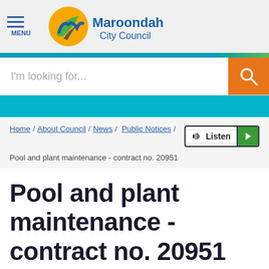[Figure (logo): Maroondah City Council logo with menu icon]
I'm looking for...
Home / About Council / News / Public Notices /
Pool and plant maintenance - contract no. 20951
Pool and plant maintenance - contract no. 20951